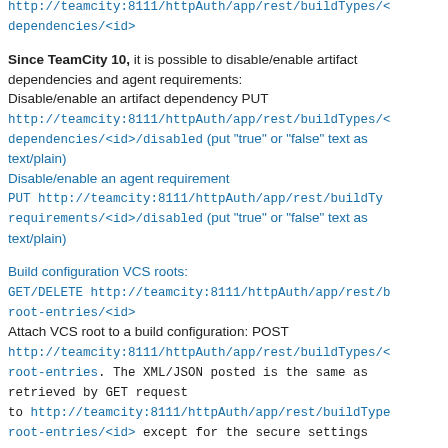http://teamcity:8111/httpAuth/app/rest/buildTypes/<.../dependencies/<id>
Since TeamCity 10, it is possible to disable/enable artifact dependencies and agent requirements:
Disable/enable an artifact dependency PUT http://teamcity:8111/httpAuth/app/rest/buildTypes/<...>/artifact-dependencies/<id>/disabled (put "true" or "false" text as text/plain)
Disable/enable an agent requirement PUT http://teamcity:8111/httpAuth/app/rest/buildTypes/<...>/agent-requirements/<id>/disabled (put "true" or "false" text as text/plain)
Build configuration VCS roots:
GET/DELETE http://teamcity:8111/httpAuth/app/rest/buildTypes/<...>/vcs-root-entries/<id>
Attach VCS root to a build configuration: POST http://teamcity:8111/httpAuth/app/rest/buildTypes/<...>/vcs-root-entries. The XML/JSON posted is the same as retrieved by GET request to http://teamcity:8111/httpAuth/app/rest/buildTypes/<...>/vcs-root-entries/<id> except for the secure settings